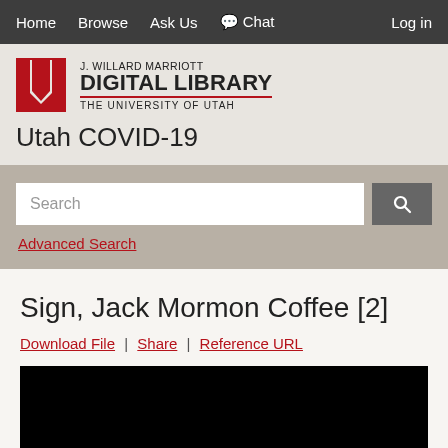Home | Browse | Ask Us | Chat | Log in
[Figure (logo): J. Willard Marriott Digital Library, The University of Utah logo with red U]
Utah COVID-19
Search [input field] [search button] Advanced Search
Sign, Jack Mormon Coffee [2]
Download File | Share | Reference URL
[Figure (photo): Black image preview area]